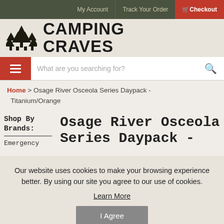My Account | Track Your Order | Checkout
[Figure (logo): Camping Craves logo with pine trees icon and bold text CAMPING CRAVES]
What are you searching for?
Home > Osage River Osceola Series Daypack - Titanium/Orange
Shop By Brands:
Emergency
Osage River Osceola Series Daypack -
Our website uses cookies to make your browsing experience better. By using our site you agree to our use of cookies.
Learn More
I Agree